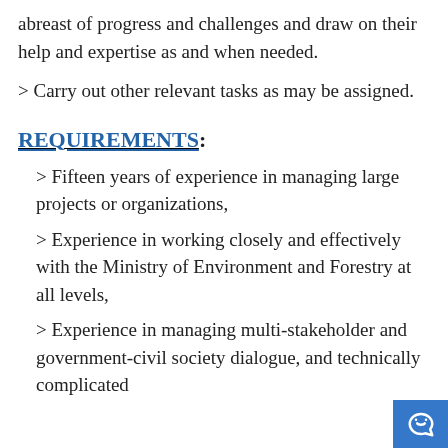abreast of progress and challenges and draw on their help and expertise as and when needed.
> Carry out other relevant tasks as may be assigned.
REQUIREMENTS:
> Fifteen years of experience in managing large projects or organizations,
> Experience in working closely and effectively with the Ministry of Environment and Forestry at all levels,
> Experience in managing multi-stakeholder and government-civil society dialogue, and technically complicated